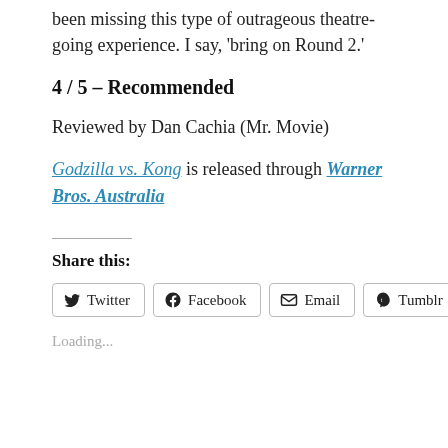been missing this type of outrageous theatre-going experience. I say, 'bring on Round 2.'
4 / 5 – Recommended
Reviewed by Dan Cachia (Mr. Movie)
Godzilla vs. Kong is released through Warner Bros. Australia
Share this:
Loading...